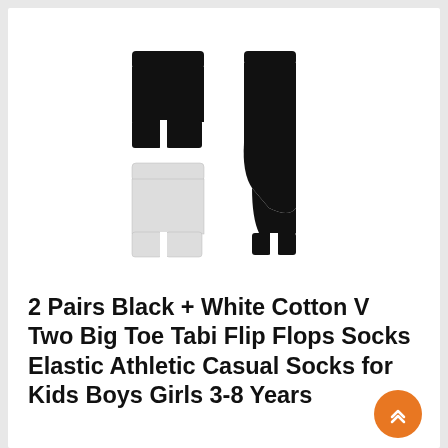[Figure (photo): Product photo showing two pairs of tabi (split-toe) socks: one black pair shown folded flat (left, top) and as a single tall sock (right), plus one white pair folded flat (left, bottom). All are split-toe style for flip flops.]
2 Pairs Black + White Cotton V Two Big Toe Tabi Flip Flops Socks Elastic Athletic Casual Socks for Kids Boys Girls 3-8 Years